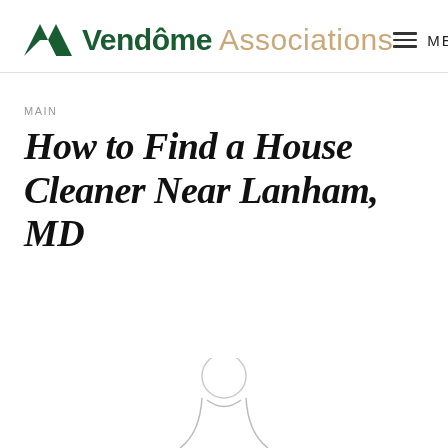Vendôme Associations — MENU
MAIN
How to Find a House Cleaner Near Lanham, MD
[Figure (illustration): Partial illustration at bottom of page, appears to show a cleaning-related image, cropped at page edge]